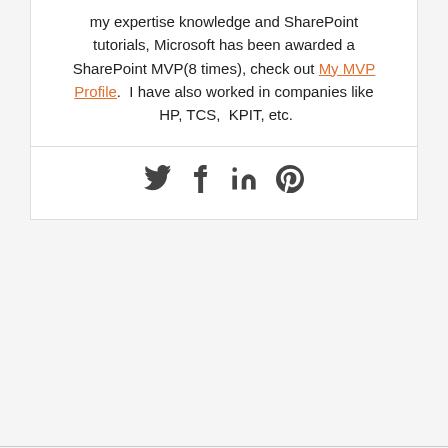my expertise knowledge and SharePoint tutorials, Microsoft has been awarded a SharePoint MVP(8 times), check out My MVP Profile. I have also worked in companies like HP, TCS, KPIT, etc.
[Figure (other): Social media icons row: Twitter (bird), Facebook (f), LinkedIn (in), Pinterest (P circle)]